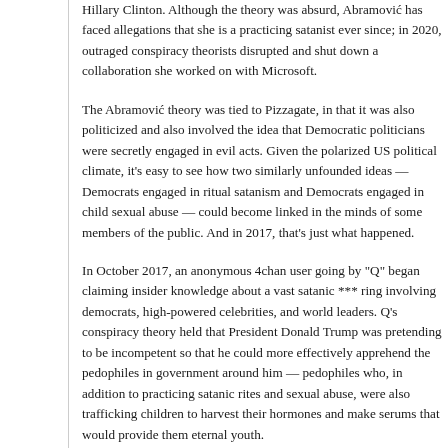Hillary Clinton. Although the theory was absurd, Abramović has faced allegations that she is a practicing satanist ever since; in 2020, outraged conspiracy theorists disrupted and shut down a collaboration she worked on with Microsoft.
The Abramović theory was tied to Pizzagate, in that it was also politicized and also involved the idea that Democratic politicians were secretly engaged in evil acts. Given the polarized US political climate, it's easy to see how two similarly unfounded ideas — Democrats engaged in ritual satanism and Democrats engaged in child sexual abuse — could become linked in the minds of some members of the public. And in 2017, that's just what happened.
In October 2017, an anonymous 4chan user going by "Q" began claiming insider knowledge about a vast satanic *** ring involving democrats, high-powered celebrities, and world leaders. Q's conspiracy theory held that President Donald Trump was pretending to be incompetent so that he could more effectively apprehend the pedophiles in government around him — pedophiles who, in addition to practicing satanic rites and sexual abuse, were also trafficking children to harvest their hormones and make serums that would provide them eternal youth.
The Q conspiracy quickly became known as QAnon — the name for both the theory itself and Q's followers. As QAnon